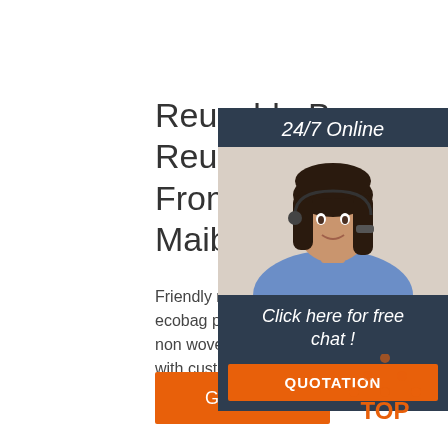Reusable Bags, Reusable Bags Dir From Guangzhou Maibao ...
Friendly reusable grocery rec ecobag pp nonwoven bags la non woven fabric carry shopp with custom print logo $0.15 - Piece 3000.0 Pieces (Min. Or
Get Price
[Figure (other): 24/7 online customer service chat panel with a woman wearing a headset. Includes 'Click here for free chat!' CTA and orange QUOTATION button.]
[Figure (logo): TOP logo with orange dot triangle icon above the word TOP]